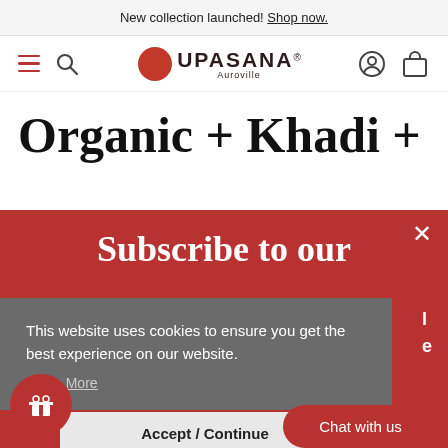New collection launched! Shop now.
[Figure (screenshot): Upasana Auroville brand navigation bar with hamburger menu, search icon, red circle logo, brand name UPASANA Auroville, user icon, and cart icon]
Organic + Khadi +
Subscribe to our
This website uses cookies to ensure you get the best experience on our website. Learn More
Accept / Continue
Chat with us